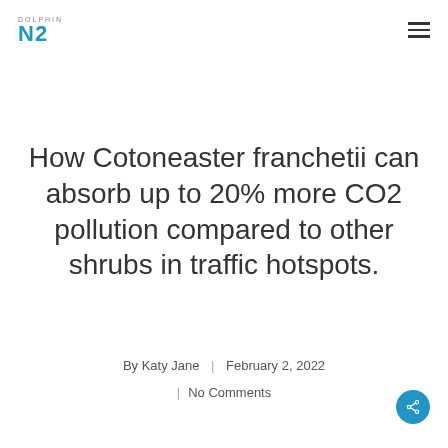DOLPHIN N2
How Cotoneaster franchetii can absorb up to 20% more CO2 pollution compared to other shrubs in traffic hotspots.
By Katy Jane | February 2, 2022
No Comments